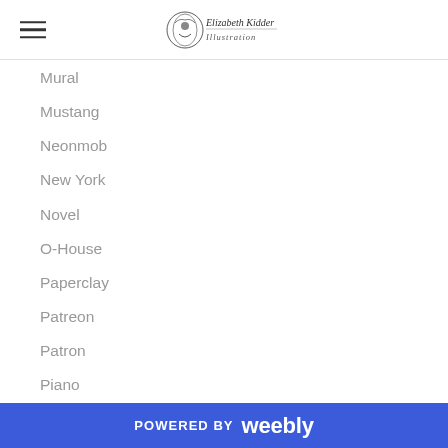Elizabeth Kidder Illustration
Mural
Mustang
Neonmob
New York
Novel
O-House
Paperclay
Patreon
Patron
Piano
Poetry
Portal
Resolution
Sculpture
Sheep
Shop
POWERED BY weebly